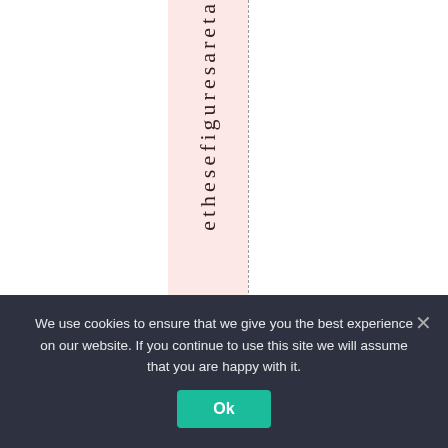e t h e s e f i g u r e s a r e t a
We use cookies to ensure that we give you the best experience on our website. If you continue to use this site we will assume that you are happy with it.